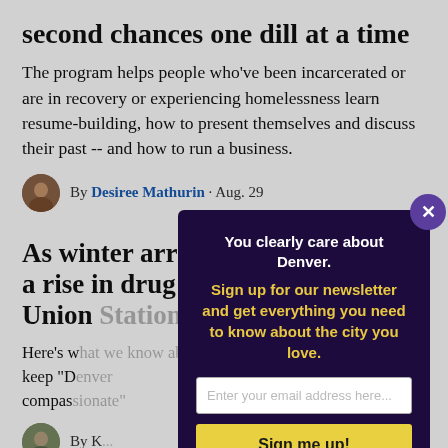second chances one dill at a time
The program helps people who've been incarcerated or are in recovery or experiencing homelessness learn resume-building, how to present themselves and discuss their past -- and how to run a business.
By Desiree Mathurin · Aug. 29
As winter arrives, the city expects a rise in drug u... Union...
Here's w... keep "D... compass...
By K...
Things... Aug. 2...
[Figure (infographic): Newsletter signup modal overlay with dark purple background. Title: 'You clearly care about Denver.' Subtitle in yellow: 'Sign up for our newsletter and get everything you need to know about the city you love.' Email input field and 'Sign me up!' button.]